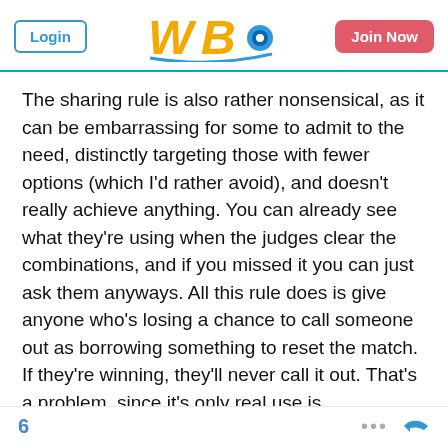Login | WBO logo | Join Now
The sharing rule is also rather nonsensical, as it can be embarrassing for some to admit to the need, distinctly targeting those with fewer options (which I'd rather avoid), and doesn't really achieve anything. You can already see what they're using when the judges clear the combinations, and if you missed it you can just ask them anyways. All this rule does is give anyone who's losing a chance to call someone out as borrowing something to reset the match. If they're winning, they'll never call it out. That's a problem, since it's only real use is exploitative.
No, these don't help at all and don't sit well within an inclusive community.
6 ... reply